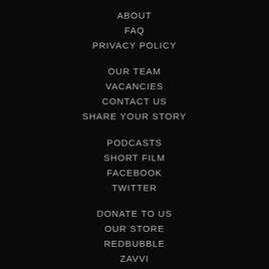ABOUT
FAQ
PRIVACY POLICY
OUR TEAM
VACANCIES
CONTACT US
SHARE YOUR STORY
PODCASTS
SHORT FILM
FACEBOOK
TWITTER
DONATE TO US
OUR STORE
REDBUBBLE
ZAVVI